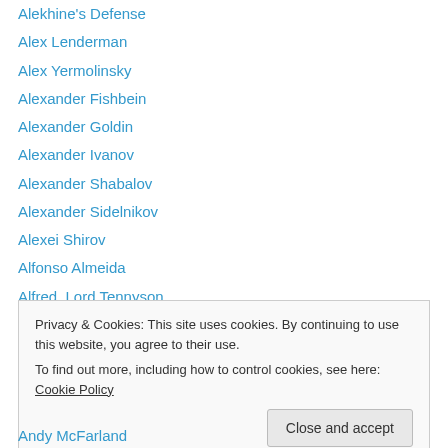Alekhine's Defense
Alex Lenderman
Alex Yermolinsky
Alexander Fishbein
Alexander Goldin
Alexander Ivanov
Alexander Shabalov
Alexander Sidelnikov
Alexei Shirov
Alfonso Almeida
Alfred, Lord Tennyson
Allan Savage
Anatoly Karpov
Privacy & Cookies: This site uses cookies. By continuing to use this website, you agree to their use. To find out more, including how to control cookies, see here: Cookie Policy
Andy McFarland